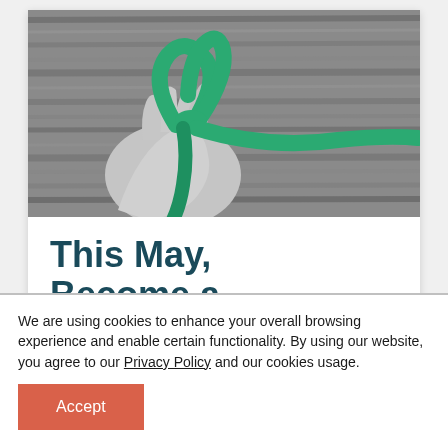[Figure (photo): Black and white photo of a hand holding a green mental health awareness ribbon against a wooden background. The ribbon is shown in full color green contrasting with the grayscale image.]
This May, Become a Mental Health
We are using cookies to enhance your overall browsing experience and enable certain functionality. By using our website, you agree to our Privacy Policy and our cookies usage.
Accept